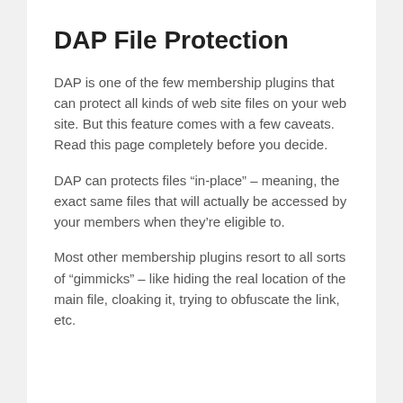DAP File Protection
DAP is one of the few membership plugins that can protect all kinds of web site files on your web site. But this feature comes with a few caveats. Read this page completely before you decide.
DAP can protects files “in-place” – meaning, the exact same files that will actually be accessed by your members when they’re eligible to.
Most other membership plugins resort to all sorts of “gimmicks” – like hiding the real location of the main file, cloaking it, trying to obfuscate the link, etc.